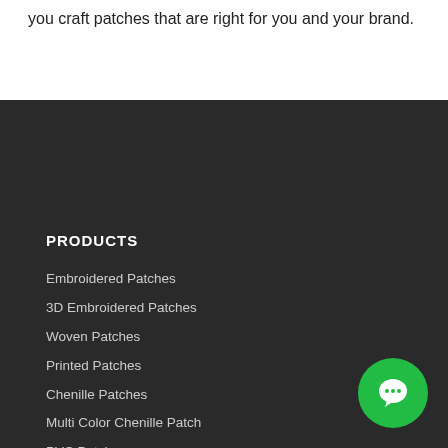you craft patches that are right for you and your brand.
PRODUCTS
Embroidered Patches
3D Embroidered Patches
Woven Patches
Printed Patches
Chenille Patches
Multi Color Chenille Patch
PVC Patches
Leather Patches
Woven Labels
Printed Care Labels
[Figure (other): Green circular chat button with chat bubble icon in bottom right corner]